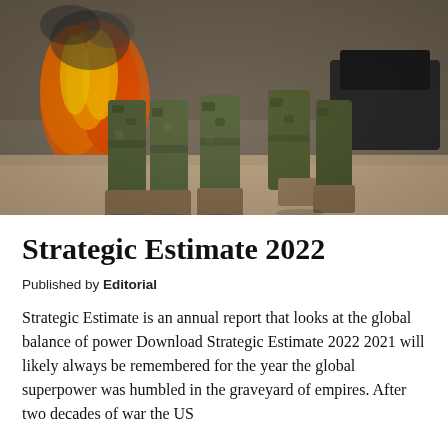[Figure (photo): Photograph of soldiers in camouflage uniforms walking, shown from the waist down. Fire and flames visible in the background on the left side. Desert/dusty ground setting.]
Strategic Estimate 2022
Published by Editorial
Strategic Estimate is an annual report that looks at the global balance of power Download Strategic Estimate 2022 2021 will likely always be remembered for the year the global superpower was humbled in the graveyard of empires. After two decades of war the US